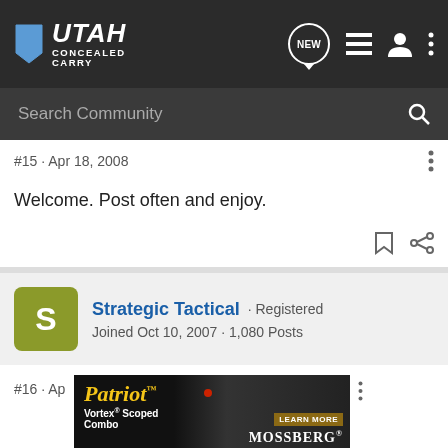Utah Concealed Carry - navigation bar with logo, NEW, list, user, and menu icons
Search Community
#15 · Apr 18, 2008
Welcome. Post often and enjoy.
Strategic Tactical · Registered
Joined Oct 10, 2007 · 1,080 Posts
#16 · Apr
[Figure (photo): Patriot Vortex Scoped Combo - LEARN MORE - MOSSBERG advertisement banner showing a rifle]